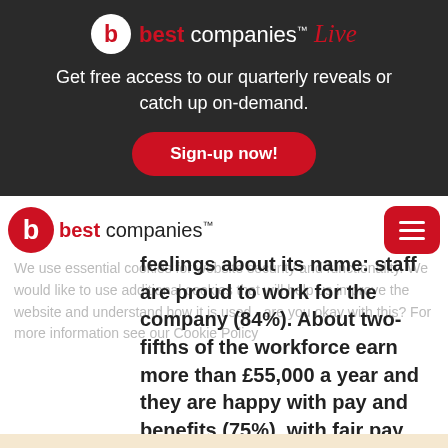[Figure (logo): Best Companies Live logo with red circle b, white background, red 'best' and white 'companies' text and red italic 'Live']
Get free access to our quarterly reveals or catch up on-demand.
Sign-up now!
[Figure (logo): Best Companies logo with red circle, red 'best' and dark 'companies' text with TM]
We use essential cookies for website security and functionality. We would like to use additional cookies that will help us improve the website and understand how it is used - are you okay with this? For more information see our Cookie Policy
feelings about its name: staff are proud to work for the company (84%). About two-fifths of the workforce earn more than £55,000 a year and they are happy with pay and benefits (75%), with fair pay for their responsibilities (71%) and relative to others in the firm (70%) — all top 20 results. The company ticks almost all of the boxes for its
Accept additional cookies | Manage cookies | Reject Additional Cookies